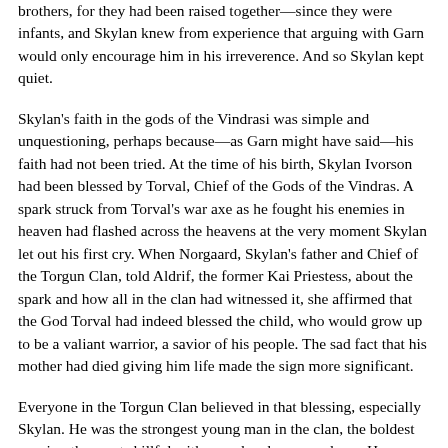brothers, for they had been raised together—since they were infants, and Skylan knew from experience that arguing with Garn would only encourage him in his irreverence. And so Skylan kept quiet.
Skylan's faith in the gods of the Vindrasi was simple and unquestioning, perhaps because—as Garn might have said—his faith had not been tried. At the time of his birth, Skylan Ivorson had been blessed by Torval, Chief of the Gods of the Vindras. A spark struck from Torval's war axe as he fought his enemies in heaven had flashed across the heavens at the very moment Skylan let out his first cry. When Norgaard, Skylan's father and Chief of the Torgun Clan, told Aldrif, the former Kai Priestess, about the spark and how all in the clan had witnessed it, she affirmed that the God Torval had indeed blessed the child, who would grow up to be a valiant warrior, a savior of his people. The sad fact that his mother had died giving him life made the sign more significant.
Everyone in the Torgun Clan believed in that blessing, especially Skylan. He was the strongest young man in the clan, the boldest warrior, the most skillful with sword and spear and axe. He was handsome, with eyes the color of the